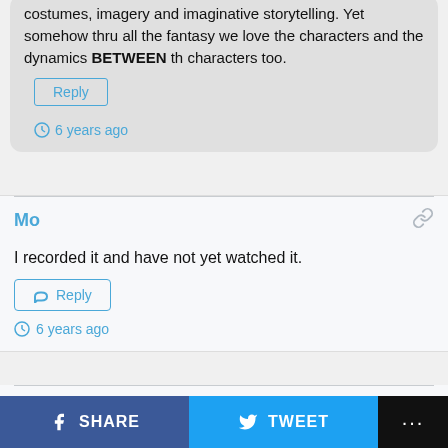costumes, imagery and imaginative storytelling. Yet somehow thru all the fantasy we love the characters and the dynamics BETWEEN th characters too.
Reply
6 years ago
Mo
I recorded it and have not yet watched it.
Reply
6 years ago
Aria
SHARE   TWEET   ...